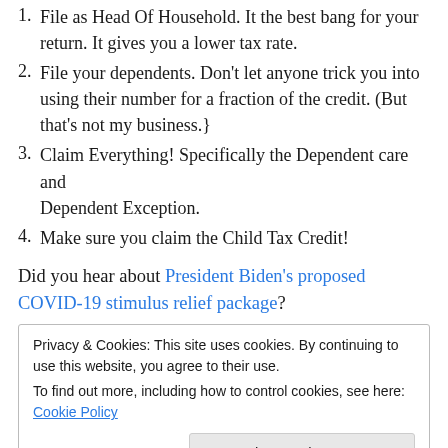1. File as Head Of Household. It the best bang for your return. It gives you a lower tax rate.
2. File your dependents. Don't let anyone trick you into using their number for a fraction of the credit. (But that's not my business.}
3. Claim Everything! Specifically the Dependent care and Dependent Exception.
4. Make sure you claim the Child Tax Credit!
Did you hear about President Biden's proposed COVID-19 stimulus relief package?
Privacy & Cookies: This site uses cookies. By continuing to use this website, you agree to their use. To find out more, including how to control cookies, see here: Cookie Policy
hosting their students through out the week.